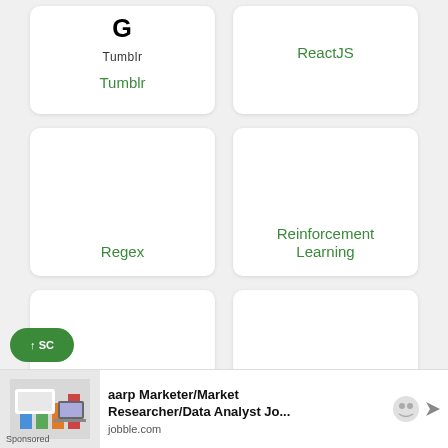[Figure (screenshot): Card showing Tumblr logo (black G-like icon) and 'Tumblr' wordmark, with green text 'Tumblr' below]
[Figure (screenshot): Card with green text 'ReactJS']
[Figure (screenshot): Card with green text 'Regex']
[Figure (screenshot): Card with green text 'Reinforcement Learning']
[Figure (screenshot): Card with green text 'R Programming']
[Figure (screenshot): Card with green text 'RxJS']
[Figure (screenshot): Partial card with broken image icon and green text 'React Native ...']
[Figure (screenshot): Partial card with broken image icon and green text 'Python Design Patterns']
aarp Marketer/Market Researcher/Data Analyst Jo...
jobble.com
Sponsored